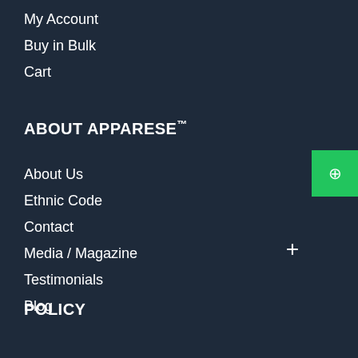My Account
Buy in Bulk
Cart
ABOUT APPARESE™
About Us
Ethnic Code
Contact
Media / Magazine
Testimonials
Blog
POLICY